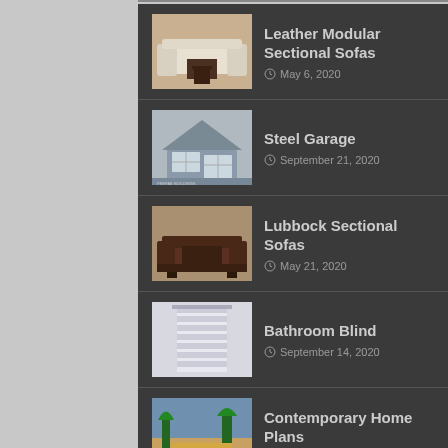Leather Modular Sectional Sofas
May 6, 2020
Steel Garage
September 21, 2020
Lubbock Sectional Sofas
May 21, 2020
Bathroom Blind
September 14, 2020
Contemporary Home Plans
August 7, 2020
Backyard Landscape Designs